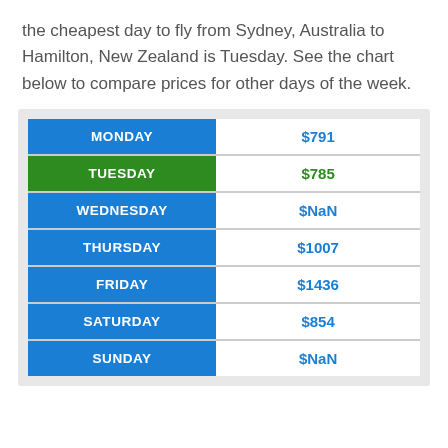the cheapest day to fly from Sydney, Australia to Hamilton, New Zealand is Tuesday. See the chart below to compare prices for other days of the week.
| Day | Price |
| --- | --- |
| MONDAY | $791 |
| TUESDAY | $785 |
| WEDNESDAY | $NaN |
| THURSDAY | $1007 |
| FRIDAY | $1436 |
| SATURDAY | $854 |
| SUNDAY | $NaN |